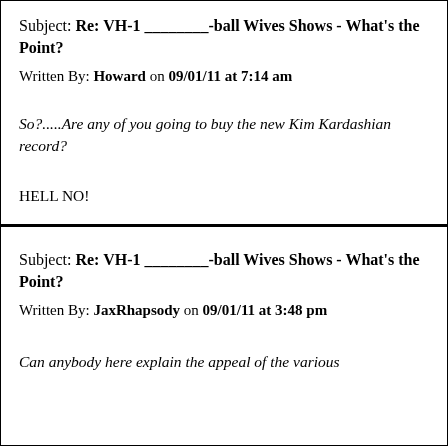Subject: Re: VH-1 ________-ball Wives Shows - What's the Point?
Written By: Howard on 09/01/11 at 7:14 am
So?.....Are any of you going to buy the new Kim Kardashian record?
HELL NO!
Subject: Re: VH-1 ________-ball Wives Shows - What's the Point?
Written By: JaxRhapsody on 09/01/11 at 3:48 pm
Can anybody here explain the appeal of the various